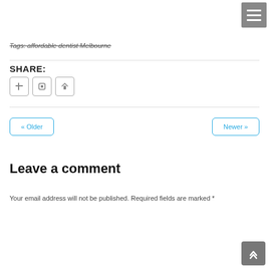Tags: affordable dentist Melbourne
SHARE:
[Figure (other): Three social share icon buttons (square outlined boxes with small icons)]
« Older
Newer »
Leave a comment
Your email address will not be published. Required fields are marked *